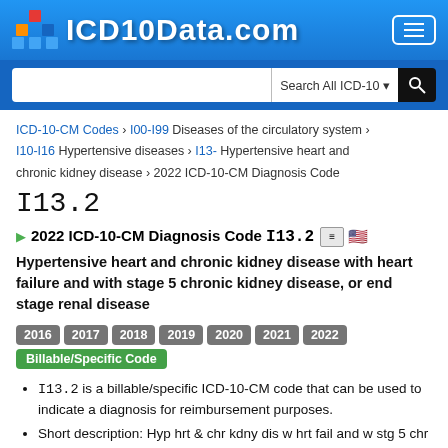[Figure (logo): ICD10Data.com logo with colorful block icon and white text on blue header background]
ICD-10-CM Codes > I00-I99 Diseases of the circulatory system > I10-I16 Hypertensive diseases > I13- Hypertensive heart and chronic kidney disease > 2022 ICD-10-CM Diagnosis Code
I13.2
2022 ICD-10-CM Diagnosis Code I13.2
Hypertensive heart and chronic kidney disease with heart failure and with stage 5 chronic kidney disease, or end stage renal disease
2016 2017 2018 2019 2020 2021 2022 Billable/Specific Code
I13.2 is a billable/specific ICD-10-CM code that can be used to indicate a diagnosis for reimbursement purposes.
Short description: Hyp hrt & chr kdny dis w hrt fail and w stg 5 chr kdny/ESRD
The 2022 edition of ICD-10-CM I13.2 became effective on